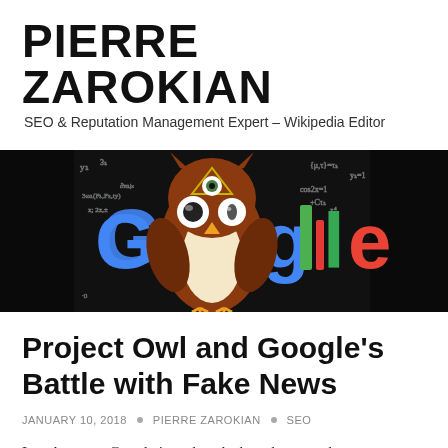PIERRE ZAROKIAN
SEO & Reputation Management Expert – Wikipedia Editor
[Figure (illustration): Decorative banner image showing an illustrated owl sitting in front of a Google logo stylized with mathematical equations in the background, on a black background. The owl has an all-seeing eye motif on its forehead.]
Project Owl and Google's Battle with Fake News
JANUARY 10, 2018  •  PIERRE ZAROKIAN  •  SEO
Late last year Google introduced a brand new update to